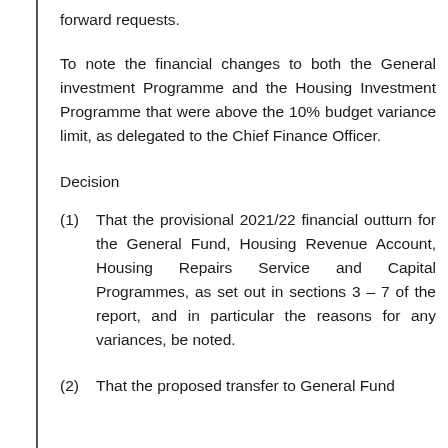forward requests.
To note the financial changes to both the General investment Programme and the Housing Investment Programme that were above the 10% budget variance limit, as delegated to the Chief Finance Officer.
Decision
(1)  That the provisional 2021/22 financial outturn for the General Fund, Housing Revenue Account, Housing Repairs Service and Capital Programmes, as set out in sections 3 – 7 of the report, and in particular the reasons for any variances, be noted.
(2)  That the proposed transfer to General Fund